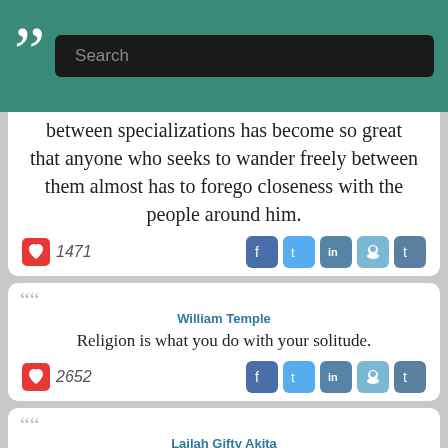[Figure (screenshot): Website header with quotation mark logo and search bar on teal background]
between specializations has become so great that anyone who seeks to wander freely between them almost has to forego closeness with the people around him.
1471
William Temple
Religion is what you do with your solitude.
2652
Lailah Gifty Akita
The pleasure of reading is the greatest solitude.
3611
Lailah Gifty Akita
We must not only observe but listen to the sound